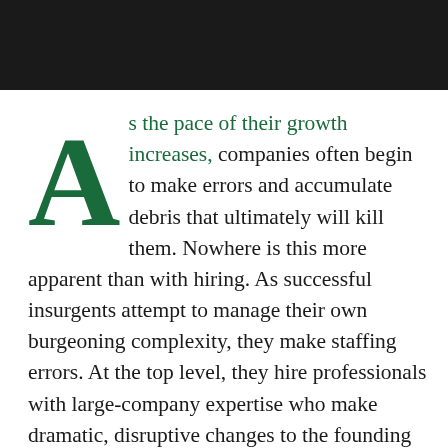[Figure (photo): Dark header bar/image at top of page, dark background]
As the pace of their growth increases, companies often begin to make errors and accumulate debris that ultimately will kill them. Nowhere is this more apparent than with hiring. As successful insurgents attempt to manage their own burgeoning complexity, they make staffing errors. At the top level, they hire professionals with large-company expertise who make dramatic, disruptive changes to the founding culture. Throughout the company, they staff up with great speed, and in doing so, they often